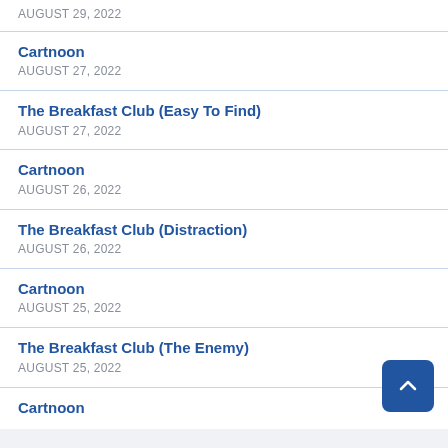AUGUST 29, 2022
Cartnoon
AUGUST 27, 2022
The Breakfast Club (Easy To Find)
AUGUST 27, 2022
Cartnoon
AUGUST 26, 2022
The Breakfast Club (Distraction)
AUGUST 26, 2022
Cartnoon
AUGUST 25, 2022
The Breakfast Club (The Enemy)
AUGUST 25, 2022
Cartnoon